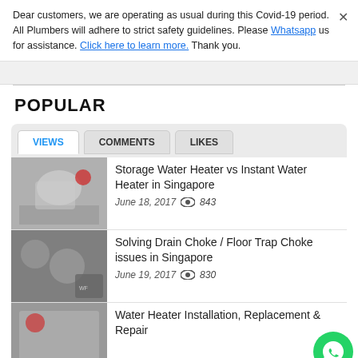Dear customers, we are operating as usual during this Covid-19 period. All Plumbers will adhere to strict safety guidelines. Please Whatsapp us for assistance. Click here to learn more. Thank you.
POPULAR
VIEWS | COMMENTS | LIKES
Storage Water Heater vs Instant Water Heater in Singapore
June 18, 2017  843
Solving Drain Choke / Floor Trap Choke issues in Singapore
June 19, 2017  830
Water Heater Installation, Replacement & Repair